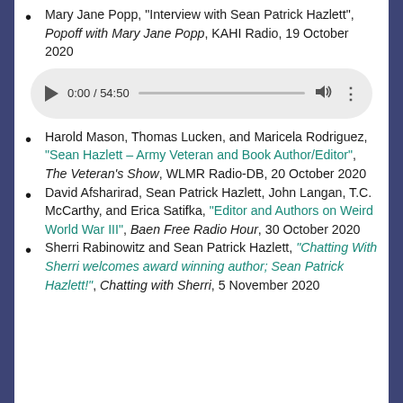Mary Jane Popp, "Interview with Sean Patrick Hazlett", Popoff with Mary Jane Popp, KAHI Radio, 19 October 2020
[Figure (other): Audio player widget showing 0:00 / 54:50 with play button, progress bar, volume and menu icons]
Harold Mason, Thomas Lucken, and Maricela Rodriguez, "Sean Hazlett – Army Veteran and Book Author/Editor", The Veteran's Show, WLMR Radio-DB, 20 October 2020
David Afsharirad, Sean Patrick Hazlett, John Langan, T.C. McCarthy, and Erica Satifka, "Editor and Authors on Weird World War III", Baen Free Radio Hour, 30 October 2020
Sherri Rabinowitz and Sean Patrick Hazlett, "Chatting With Sherri welcomes award winning author; Sean Patrick Hazlett!", Chatting with Sherri, 5 November 2020